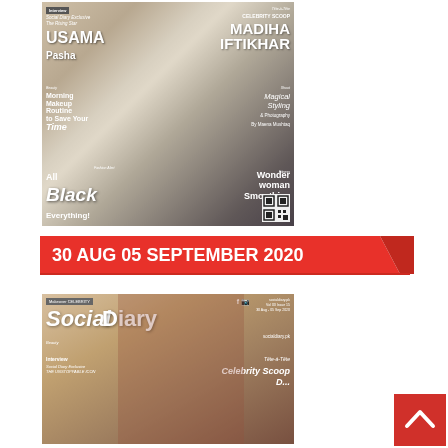[Figure (photo): Magazine cover featuring a man in a black suit. Text overlays include: Interview, Social Diary Exclusive, The Rising Star, USAMA Pasha, Tête-à-Tête, CELEBRITY SCOOP, MADIHA IFTIKHAR, Beauty - Morning Makeup Routine to Save Your Time, Shoot - Magical Styling & Photography By Maena Mushtaq, Fitness - Wonder Woman Smoothies, Fashion Alert - All Black Everything!, with a QR code in the bottom right corner.]
30 AUG 05 SEPTEMBER 2020
[Figure (photo): Magazine cover for Social Diary, Vol 03 Issue 15, 30 Aug - 05 Sep 2020. Features a woman in red attire. Text includes Social Diary logo, Facebook/Instagram icons, socialdiary.pk, Makeover CELEBRITY, Beauty, Interview sections.]